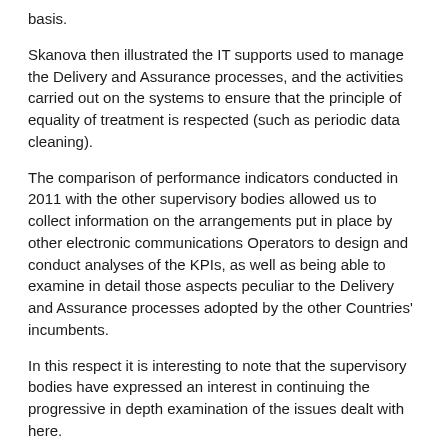basis.
Skanova then illustrated the IT supports used to manage the Delivery and Assurance processes, and the activities carried out on the systems to ensure that the principle of equality of treatment is respected (such as periodic data cleaning).
The comparison of performance indicators conducted in 2011 with the other supervisory bodies allowed us to collect information on the arrangements put in place by other electronic communications Operators to design and conduct analyses of the KPIs, as well as being able to examine in detail those aspects peculiar to the Delivery and Assurance processes adopted by the other Countries' incumbents.
In this respect it is interesting to note that the supervisory bodies have expressed an interest in continuing the progressive in depth examination of the issues dealt with here.
The analysis activities conducted to date have allowed the Supervisory Office to identify certain aspects of the Open Access work processes that, in the light of the information acquired in these international comparisons, could be improved.
Other activities of the SB